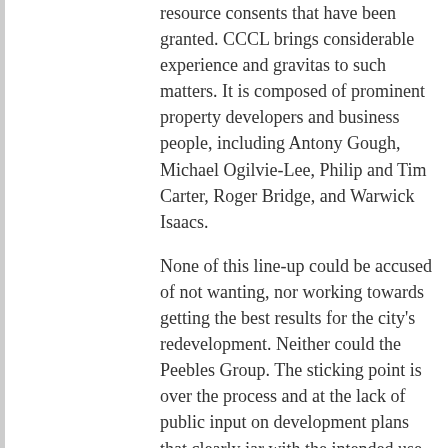resource consents that have been granted. CCCL brings considerable experience and gravitas to such matters. It is composed of prominent property developers and business people, including Antony Gough, Michael Ogilvie-Lee, Philip and Tim Carter, Roger Bridge, and Warwick Isaacs.

None of this line-up could be accused of not wanting, nor working towards getting the best results for the city's redevelopment. Neither could the Peebles Group. The sticking point is over the process and at the lack of public input on development plans that clearly jar with the intended use of that part of the city.
Peebles says he is “very disappointed” about the legal challenge and intends to staunchly defend the consents he has been given. Beyond that he is not prepared to say more, given it is before the courts. The city council is declining to comment at all.
Gough is exercising no such caution. He says those in the innovation precinct went there